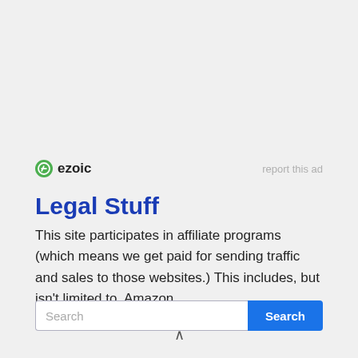[Figure (logo): Ezoic logo with green circle icon and bold text 'ezoic', alongside 'report this ad' link]
Legal Stuff
This site participates in affiliate programs (which means we get paid for sending traffic and sales to those websites.) This includes, but isn't limited to, Amazon.